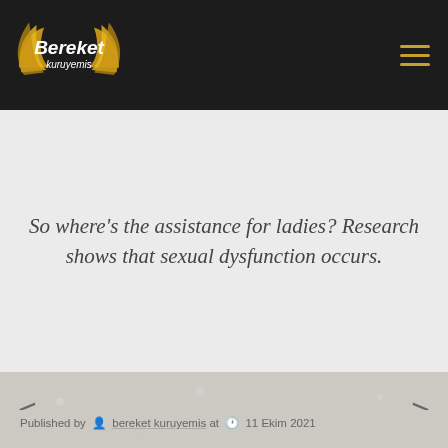Bereket kuruyemis — navigation header with logo and hamburger menu
So where’s the assistance for ladies? Research shows that sexual dysfunction occurs.
[Figure (other): Navigation slider area with left and right arrow buttons on a textured gray background]
Published by bereket kuruyemis at 11 Ekim 2021